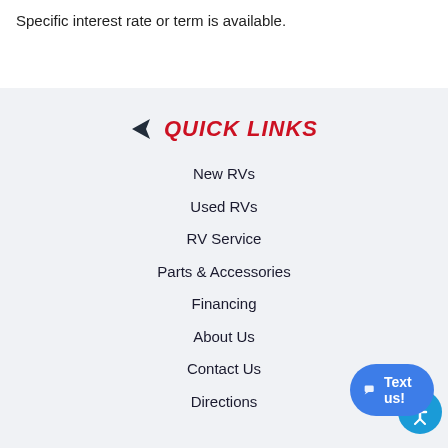Specific interest rate or term is available.
QUICK LINKS
New RVs
Used RVs
RV Service
Parts & Accessories
Financing
About Us
Contact Us
Directions